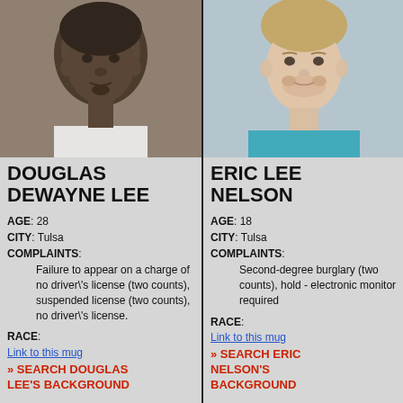[Figure (photo): Mugshot of Douglas Dewayne Lee, Black male, age 28]
DOUGLAS DEWAYNE LEE
AGE: 28
CITY: Tulsa
COMPLAINTS:
Failure to appear on a charge of no driver's license (two counts), suspended license (two counts), no driver's license.
RACE:
Link to this mug
» SEARCH DOUGLAS LEE'S BACKGROUND
[Figure (photo): Mugshot of Eric Lee Nelson, White male, age 18]
ERIC LEE NELSON
AGE: 18
CITY: Tulsa
COMPLAINTS:
Second-degree burglary (two counts), hold - electronic monitor required
RACE:
Link to this mug
» SEARCH ERIC NELSON'S BACKGROUND